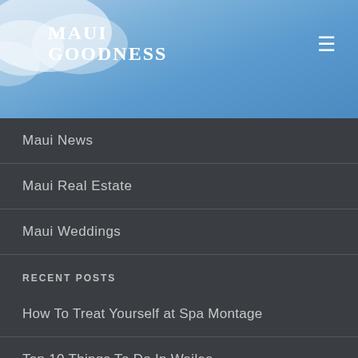[Figure (screenshot): Website header with sky and clouds background showing Maui Goodness logo and hamburger menu icon]
Maui News
Maui Real Estate
Maui Weddings
RECENT POSTS
How To Treat Yourself at Spa Montage
Top 10 Things To Do In Wailea
Top 10 Things to do in Kahului and Wailuku